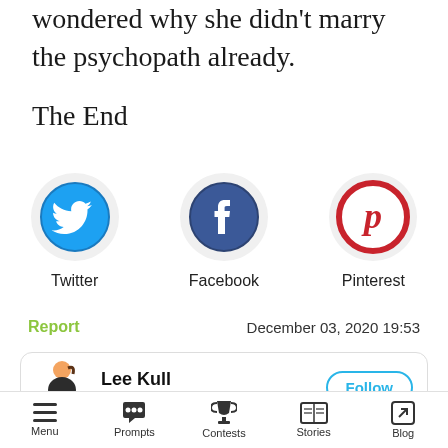wondered why she didn't marry the psychopath already.
The End
[Figure (other): Three social media share buttons: Twitter (blue bird icon), Facebook (dark blue f icon), Pinterest (red p icon), each in a light grey circle with label below]
Report
December 03, 2020 19:53
Lee Kull
19 submissions
[Figure (other): Bottom navigation bar with icons and labels: Menu (hamburger), Prompts (speech bubble), Contests (trophy), Stories (open book), Blog (arrow in box)]